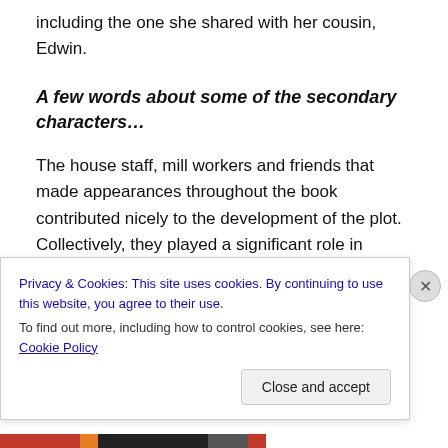including the one she shared with her cousin, Edwin.
A few words about some of the secondary characters…
The house staff, mill workers and friends that made appearances throughout the book contributed nicely to the development of the plot. Collectively, they played a significant role in propelling the story forward, maintaining my interest. One of the characters, a young girl named Glory who had some challenges of her own, but was nevertheless a great asset in many ways, was unique
Privacy & Cookies: This site uses cookies. By continuing to use this website, you agree to their use.
To find out more, including how to control cookies, see here: Cookie Policy
Close and accept